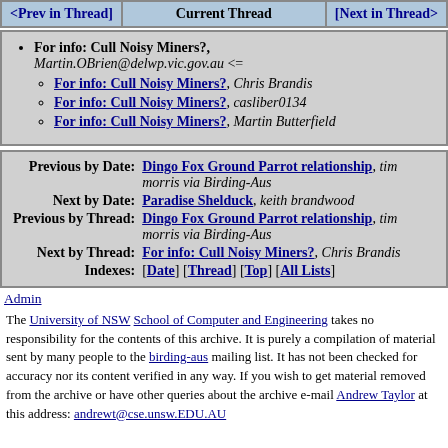<Prev in Thread]  Current Thread  [Next in Thread>
For info: Cull Noisy Miners?, Martin.OBrien@delwp.vic.gov.au <=
For info: Cull Noisy Miners?, Chris Brandis
For info: Cull Noisy Miners?, casliber0134
For info: Cull Noisy Miners?, Martin Butterfield
| Label | Link |
| --- | --- |
| Previous by Date: | Dingo Fox Ground Parrot relationship, tim morris via Birding-Aus |
| Next by Date: | Paradise Shelduck, keith brandwood |
| Previous by Thread: | Dingo Fox Ground Parrot relationship, tim morris via Birding-Aus |
| Next by Thread: | For info: Cull Noisy Miners?, Chris Brandis |
| Indexes: | [Date] [Thread] [Top] [All Lists] |
Admin
The University of NSW School of Computer and Engineering takes no responsibility for the contents of this archive. It is purely a compilation of material sent by many people to the birding-aus mailing list. It has not been checked for accuracy nor its content verified in any way. If you wish to get material removed from the archive or have other queries about the archive e-mail Andrew Taylor at this address: andrewt@cse.unsw.EDU.AU